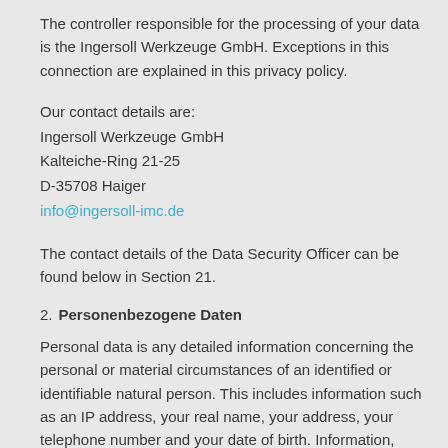The controller responsible for the processing of your data is the Ingersoll Werkzeuge GmbH. Exceptions in this connection are explained in this privacy policy.
Our contact details are:
Ingersoll Werkzeuge GmbH
Kalteiche-Ring 21-25
D-35708 Haiger
info@ingersoll-imc.de
The contact details of the Data Security Officer can be found below in Section 21.
2. Personenbezogene Daten
Personal data is any detailed information concerning the personal or material circumstances of an identified or identifiable natural person. This includes information such as an IP address, your real name, your address, your telephone number and your date of birth. Information, which is not directly connected to your true identity - such as favoured websites or number of users of a site for